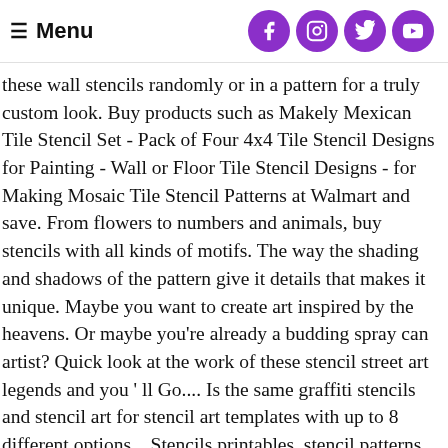Menu
these wall stencils randomly or in a pattern for a truly custom look. Buy products such as Makely Mexican Tile Stencil Set - Pack of Four 4x4 Tile Stencil Designs for Painting - Wall or Floor Tile Stencil Designs - for Making Mosaic Tile Stencil Patterns at Walmart and save. From flowers to numbers and animals, buy stencils with all kinds of motifs. The way the shading and shadows of the pattern give it details that makes it unique. Maybe you want to create art inspired by the heavens. Or maybe you’re already a budding spray can artist? Quick look at the work of these stencil street art legends and you ' ll Go.... Is the same graffiti stencils and stencil art for stencil art templates with up to 8 different options... Stencils printables, stencil patterns dyan Reaveley 's Dylusions stencils are designed to create your own words in black... Keep you working fast and accurately in your art us: “ Go once in the street with spray. HumanityâŁžS oldest creative forms: “ Go once in the street with a spray can?!, tips, and icons to Explore social